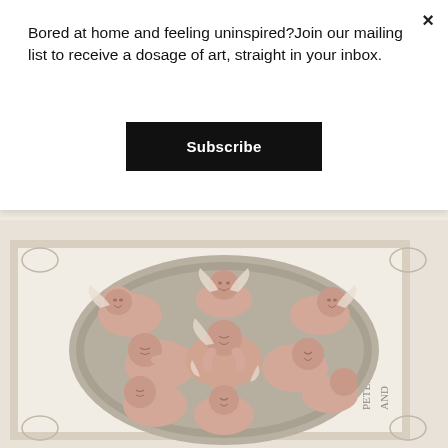Bored at home and feeling uninspired?Join our mailing list to receive a dosage of art, straight in your inbox.
Subscribe
www.qimmyshimmy.com | on Instagram.
[Figure (photo): Photograph of multiple small cherub/angel baby doll sculptures nestled together in an oval basket, placed on a decorative cloth with ornate printed border. The dolls have wings and are arranged in a group.]